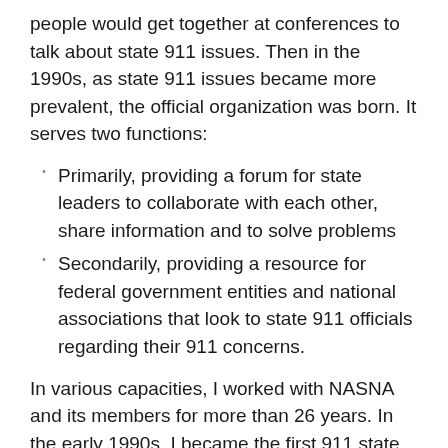people would get together at conferences to talk about state 911 issues. Then in the 1990s, as state 911 issues became more prevalent, the official organization was born. It serves two functions:
Primarily, providing a forum for state leaders to collaborate with each other, share information and to solve problems
Secondarily, providing a resource for federal government entities and national associations that look to state 911 officials regarding their 911 concerns.
In various capacities, I worked with NASNA and its members for more than 26 years. In the early 1990s, I became the first 911 state administrator for Vermont. Over the course of my years with the